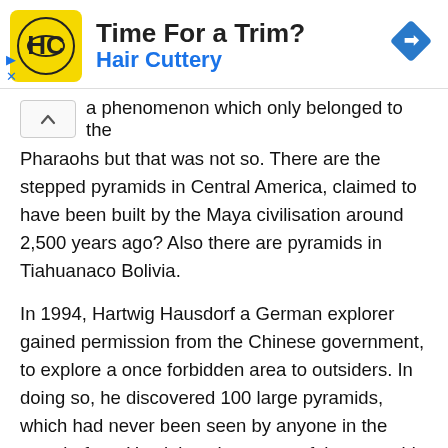[Figure (other): Hair Cuttery advertisement banner with logo, 'Time For a Trim?' heading, and blue navigation arrow icon]
a phenomenon which only belonged to the Pharaohs but that was not so. There are the stepped pyramids in Central America, claimed to have been built by the Maya civilisation around 2,500 years ago? Also there are pyramids in Tiahuanaco Bolivia.

In 1994, Hartwig Hausdorf a German explorer gained permission from the Chinese government, to explore a once forbidden area to outsiders. In doing so, he discovered 100 large pyramids, which had never been seen by anyone in the west before. He claims that some of the pyramids in Shensi Province in Central China are even larger than Egypt's Great Pyramid, dating back some 5,000 years. Excavations in that area will not begin until sometime in this century.